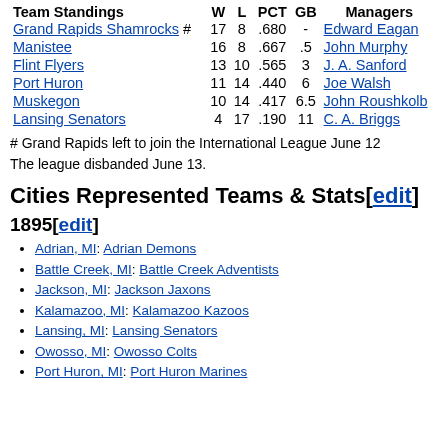| Team Standings | W | L | PCT | GB | Managers |
| --- | --- | --- | --- | --- | --- |
| # Grand Rapids Shamrocks | 17 | 8 | .680 | - | Edward Eagan |
| Manistee | 16 | 8 | .667 | .5 | John Murphy |
| Flint Flyers | 13 | 10 | .565 | 3 | J. A. Sanford |
| Port Huron | 11 | 14 | .440 | 6 | Joe Walsh |
| Muskegon | 10 | 14 | .417 | 6.5 | John Roushkolb |
| Lansing Senators | 4 | 17 | .190 | 11 | C. A. Briggs |
# Grand Rapids left to join the International League June 12 The league disbanded June 13.
Cities Represented Teams & Stats[edit]
1895[edit]
Adrian, MI: Adrian Demons
Battle Creek, MI: Battle Creek Adventists
Jackson, MI: Jackson Jaxons
Kalamazoo, MI: Kalamazoo Kazoos
Lansing, MI: Lansing Senators
Owosso, MI: Owosso Colts
Port Huron, MI: Port Huron Marines